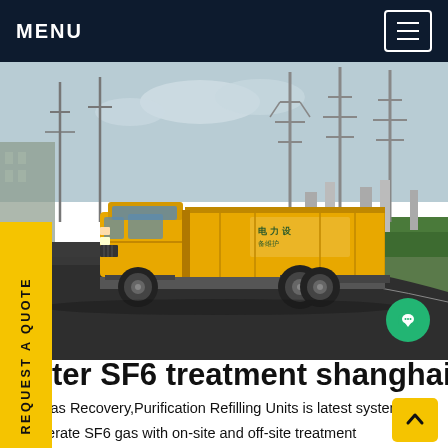MENU
[Figure (photo): Yellow utility truck parked at an electrical substation with high-voltage transmission towers and green landscaping in the background. Chinese text visible on the side of the truck.]
ter SF6 treatment shanghai
SF6 Gas Recovery,Purification Refilling Units is latest system to regenerate SF6 gas with on-site and off-site treatment capabilities. This machine has features of faster vacuum pumping speed,drying